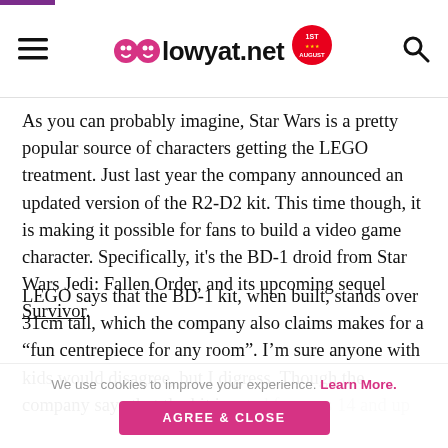lowyat.net
As you can probably imagine, Star Wars is a pretty popular source of characters getting the LEGO treatment. Just last year the company announced an updated version of the R2-D2 kit. This time though, it is making it possible for fans to build a video game character. Specifically, it's the BD-1 droid from Star Wars Jedi: Fallen Order, and its upcoming sequel Survivor.
LEGO says that the BD-1 kit, when built, stands over 31cm tall, which the company also claims makes for a “fun centrepiece for any room”. I’m sure anyone with kids would disagree, but I digress. Though the company says that the kit is rated for ages 14 and up
We use cookies to improve your experience. Learn More. AGREE & CLOSE